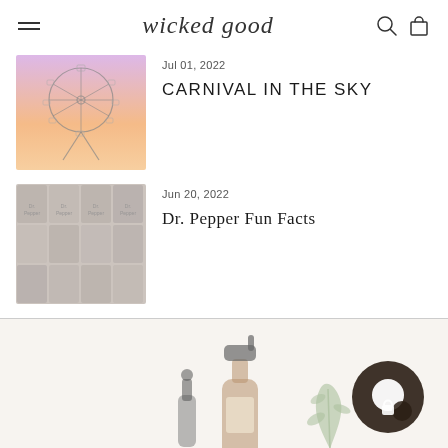wicked good
[Figure (photo): Ferris wheel against a pink and orange sunset sky]
Jul 01, 2022
CARNIVAL IN THE SKY
[Figure (photo): Grid of Dr. Pepper cans in a collage style]
Jun 20, 2022
Dr. Pepper Fun Facts
[Figure (illustration): Illustrated soap dispensers, lotion bottle, and botanical leaf branch with a chat/support icon overlay]